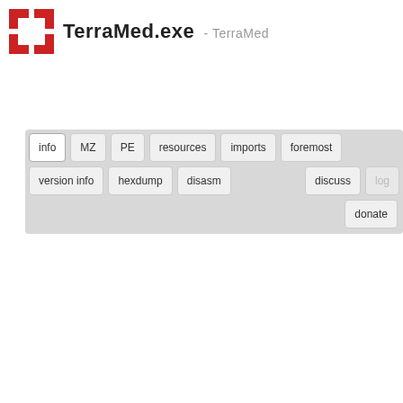TerraMed.exe - TerraMed
[Figure (screenshot): Navigation tab interface with buttons: info (active), MZ, PE, resources, imports, foremost (row 1); version info, hexdump, disasm, discuss, log (row 2); donate button (row 3)]